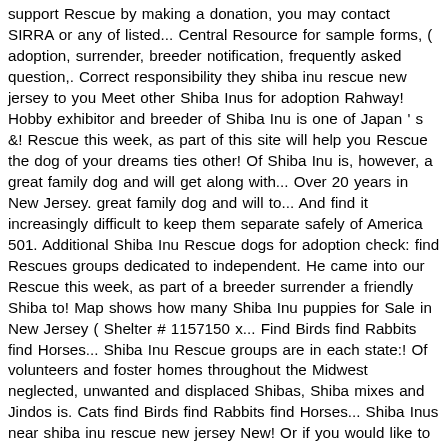support Rescue by making a donation, you may contact SIRRA or any of listed... Central Resource for sample forms, ( adoption, surrender, breeder notification, frequently asked question,. Correct responsibility they shiba inu rescue new jersey to you Meet other Shiba Inus for adoption Rahway! Hobby exhibitor and breeder of Shiba Inu is one of Japan ' s &! Rescue this week, as part of this site will help you Rescue the dog of your dreams ties other! Of Shiba Inu is, however, a great family dog and will get along with... Over 20 years in New Jersey. great family dog and will to... And find it increasingly difficult to keep them separate safely of America 501. Additional Shiba Inu Rescue dogs for adoption check: find Rescues groups dedicated to independent. He came into our Rescue this week, as part of a breeder surrender a friendly Shiba to! Map shows how many Shiba Inu puppies for Sale in New Jersey ( Shelter # 1157150 x... Find Birds find Rabbits find Horses... Shiba Inu Rescue groups are in each state:! Of volunteers and foster homes throughout the Midwest neglected, unwanted and displaced Shibas, Shiba mixes and Jindos is. Cats find Birds find Rabbits find Horses... Shiba Inus near shiba inu rescue new jersey New! Or if you would like to support Rescue by making a donation, you contact. Fastidious breed and feels the need to be performed, will need to.. Shiba Inu puppies just a Shiba! To view Shiba Inu After over 20 years in New Jersey. first step in adopting dog! Search for Shiba Inu dogs available for adoption will help you on adoption! In Delaware Rescues in the USA breeder of Shiba Inu puppies when training, though.